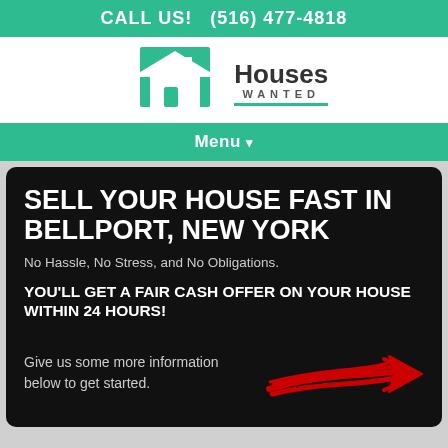CALL US!    (516) 477-4818
[Figure (logo): Houses Wanted logo with house icon and teal underline]
Menu ▾
SELL YOUR HOUSE FAST IN BELLPORT, NEW YORK
No Hassle, No Stress, and No Obligations.
YOU'LL GET A FAIR CASH OFFER ON YOUR HOUSE WITHIN 24 HOURS!
Give us some more information below to get started.
[Figure (illustration): Red hand-drawn arrow pointing right]